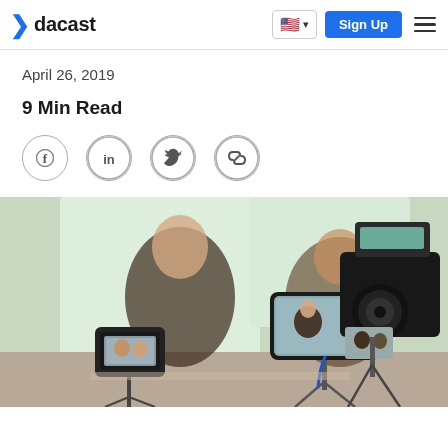dacast — Sign Up
April 26, 2019
9 Min Read
[Figure (other): Social share icons: Facebook, LinkedIn, Twitter, Link/copy]
[Figure (photo): Two women being filmed by multiple cameras/smartphones on tripods in a bright office setting, with camera screens showing their recording in progress.]